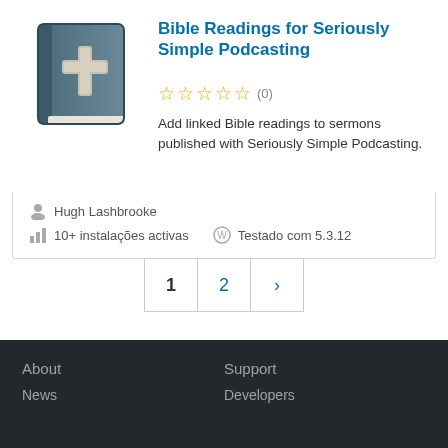[Figure (illustration): Bible book icon with cross on cover, dark teal/blue color]
Bible Readings for Seriously Simple Podcasting
☆☆☆☆☆ (0)
Add linked Bible readings to sermons published with Seriously Simple Podcasting.
Hugh Lashbrooke
10+ instalações activas
Testado com 5.3.12
1  2  ›
About
Support
News
Developers